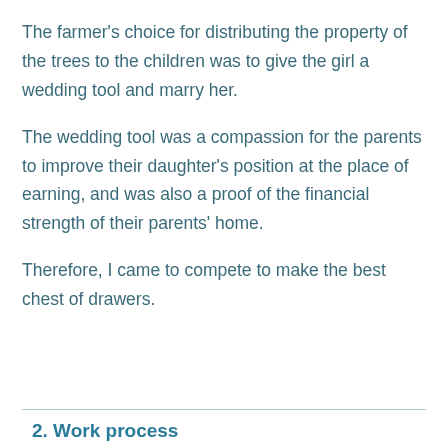The farmer's choice for distributing the property of the trees to the children was to give the girl a wedding tool and marry her.
The wedding tool was a compassion for the parents to improve their daughter's position at the place of earning, and was also a proof of the financial strength of their parents' home.
Therefore, I came to compete to make the best chest of drawers.
2. Work process